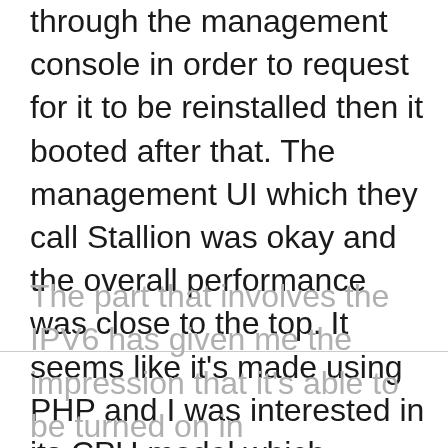through the management console in order to request for it to be reinstalled then it booted after that. The management UI which they call Stallion was okay and the overall performance was close to the top. It seems like it's made using PHP and I was interested in its CPU model which includes AMD, Intel, and Qemu. It is possible to toggle between APIC, APCI, and PAE then you can pick your hard disk driver and network. If you are using Windows in your VM then this one will really work great.
The part that involves the IPV6 has given me the impression that it's able to be turned on in